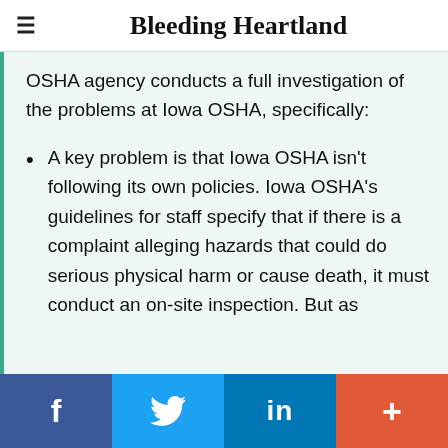Bleeding Heartland
OSHA agency conducts a full investigation of the problems at Iowa OSHA, specifically:
A key problem is that Iowa OSHA isn't following its own policies. Iowa OSHA's guidelines for staff specify that if there is a complaint alleging hazards that could do serious physical harm or cause death, it must conduct an on-site inspection. But as
f  [Twitter bird]  in  +